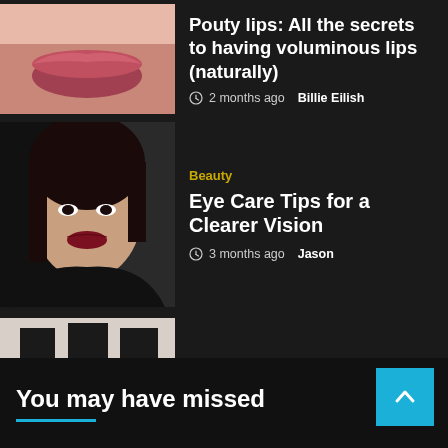[Figure (photo): Partial view of close-up lips photo thumbnail]
Pouty lips: All the secrets to having voluminous lips (naturally)
2 months ago  Billie Eilish
[Figure (photo): Portrait photo of a dark-haired woman with red lips against a dark background]
Beauty
Eye Care Tips for a Clearer Vision
3 months ago  Jason
[Figure (photo): Photo of women wearing shorts against a white background]
Shopping Guide
The Ultimate Guide to Buying Women's Shorts
3 months ago  Jason
You may have missed